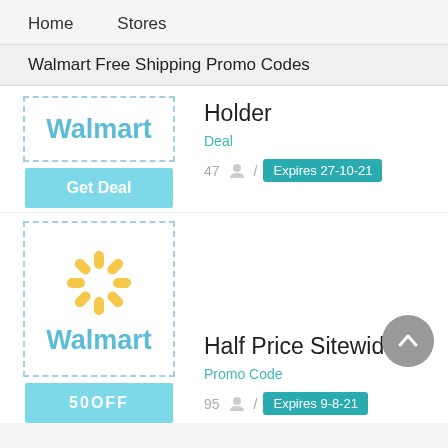Home   Stores
Walmart Free Shipping Promo Codes
[Figure (logo): Walmart logo text in teal/light blue with dashed border box]
Holder
Deal
47 / Expires 27-10-21
Get Deal
[Figure (logo): Walmart spark logo (yellow sunburst) and Walmart text in light blue, inside dashed border box]
Half Price Sitewide
Promo Code
95 / Expires 9-8-21
50OFF